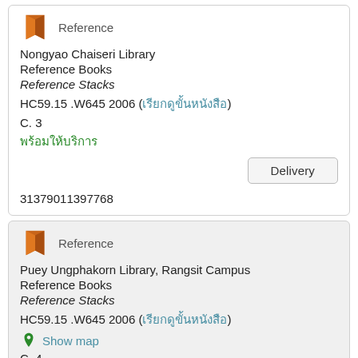[Figure (illustration): Orange book icon for Reference type]
Reference
Nongyao Chaiseri Library
Reference Books
Reference Stacks
HC59.15 .W645 2006 (เรียกดูขั้นหนังสือ)
C. 3
พร้อมให้บริการ
Delivery
31379011397768
[Figure (illustration): Orange book icon for Reference type]
Reference
Puey Ungphakorn Library, Rangsit Campus
Reference Books
Reference Stacks
HC59.15 .W645 2006 (เรียกดูขั้นหนังสือ)
Show map
C. 4